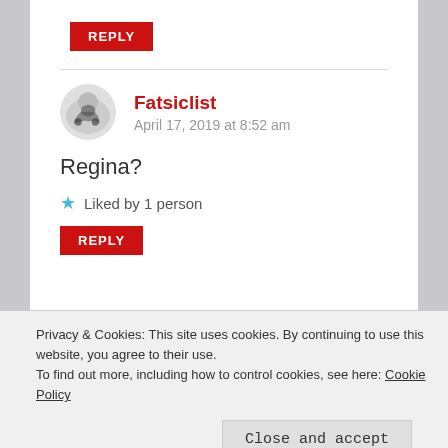REPLY
Fatsiclist
April 17, 2019 at 8:52 am
Regina?
★ Liked by 1 person
REPLY
Privacy & Cookies: This site uses cookies. By continuing to use this website, you agree to their use.
To find out more, including how to control cookies, see here: Cookie Policy
Close and accept